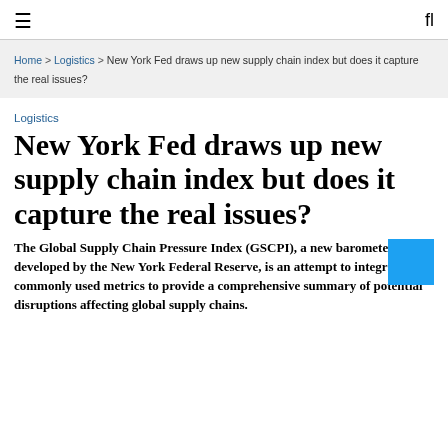≡  fl
Home > Logistics > New York Fed draws up new supply chain index but does it capture the real issues?
Logistics
New York Fed draws up new supply chain index but does it capture the real issues?
The Global Supply Chain Pressure Index (GSCPI), a new barometer developed by the New York Federal Reserve, is an attempt to integrate commonly used metrics to provide a comprehensive summary of potential disruptions affecting global supply chains.